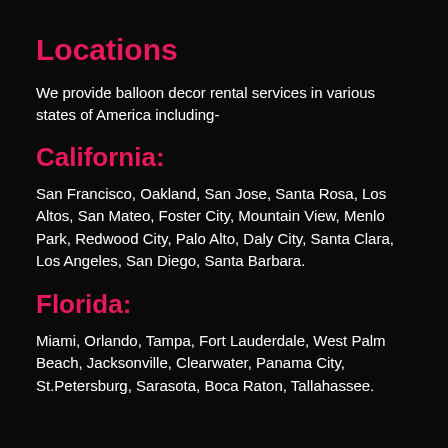Locations
We provide balloon decor rental services in various states of America including-
California:
San Francisco, Oakland, San Jose, Santa Rosa, Los Altos, San Mateo, Foster City, Mountain View, Menlo Park, Redwood City, Palo Alto, Daly City, Santa Clara, Los Angeles, San Diego, Santa Barbara.
Florida:
Miami, Orlando, Tampa, Fort Lauderdale, West Palm Beach, Jacksonville, Clearwater, Panama City, St.Petersburg, Sarasota, Boca Raton, Tallahassee.